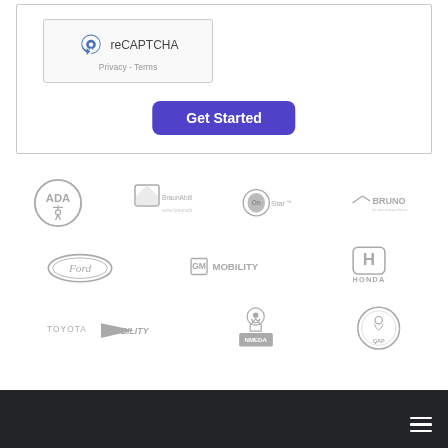[Figure (screenshot): reCAPTCHA widget showing checkbox, icon, and Privacy/Terms links]
[Figure (other): Get Started button, purple/blue rounded rectangle]
[Figure (other): Row of partner logos in greyscale: ADA, BraunAbility, OnStar, Bruno, Ford, GM Mobility, Honda, Toyota Mobility, NMEDA, QAP]